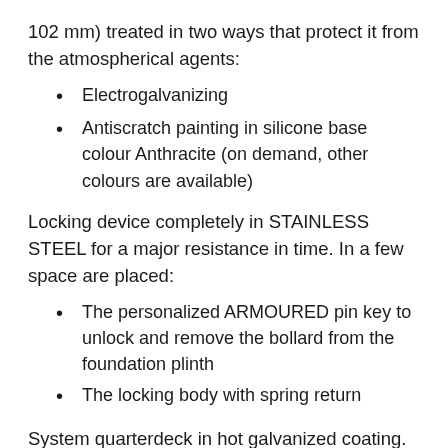102 mm) treated in two ways that protect it from the atmospherical agents:
Electrogalvanizing
Antiscratch painting in silicone base colour Anthracite (on demand, other colours are available)
Locking device completely in STAINLESS STEEL for a major resistance in time. In a few space are placed:
The personalized ARMOURED pin key to unlock and remove the bollard from the foundation plinth
The locking body with spring return
System quarterdeck in hot galvanized coating.
The standard installation foresees a dig, proportional to the force that the bollard has to stand, in which